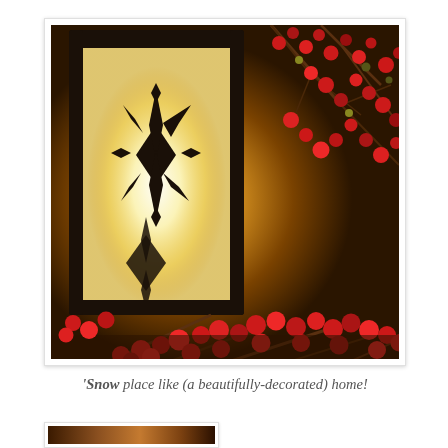[Figure (photo): A Christmas lantern with a black frame featuring a snowflake cutout design, glowing with warm candlelight inside. Decorative red berry branches and small ornament balls are arranged around the lantern on a dark wooden surface, with a warm amber-toned background.]
'Snow place like (a beautifully-decorated) home!
[Figure (photo): Partial view of a second photograph at the bottom of the page, showing a warm brown-toned scene (cut off).]